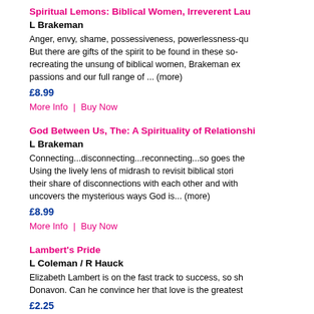Spiritual Lemons: Biblical Women, Irreverent Lau...
L Brakeman
Anger, envy, shame, possessiveness, powerlessness-qu... But there are gifts of the spirit to be found in these so- recreating the unsung of biblical women, Brakeman ex... passions and our full range of ... (more)
£8.99
More Info | Buy Now
God Between Us, The: A Spirituality of Relationshi...
L Brakeman
Connecting...disconnecting...reconnecting...so goes the... Using the lively lens of midrash to revisit biblical stori... their share of disconnections with each other and with... uncovers the mysterious ways God is... (more)
£8.99
More Info | Buy Now
Lambert's Pride
L Coleman / R Hauck
Elizabeth Lambert is on the fast track to success, so sh... Donavon. Can he convince her that love is the greatest...
£2.25